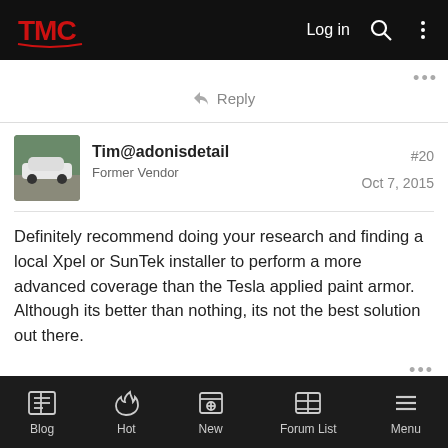TMC | Log in
Reply
Tim@adonisdetail | Former Vendor | #20 | Oct 7, 2015
Definitely recommend doing your research and finding a local Xpel or SunTek installer to perform a more advanced coverage than the Tesla applied paint armor. Although its better than nothing, its not the best solution out there.
Reply
Blog | Hot | New | Forum List | Menu